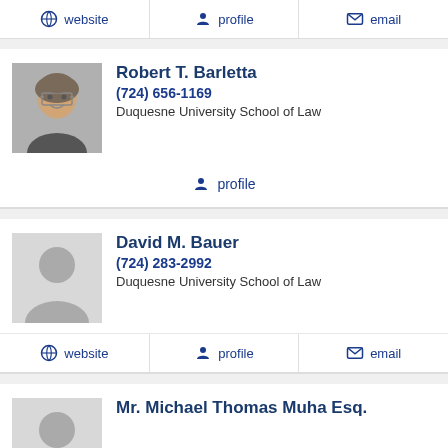website  profile  email
[Figure (photo): Headshot of Robert T. Barletta, a man with glasses and gray beard]
Robert T. Barletta
(724) 656-1169
Duquesne University School of Law
profile
[Figure (illustration): Placeholder silhouette for David M. Bauer]
David M. Bauer
(724) 283-2992
Duquesne University School of Law
website  profile  email
Mr. Michael Thomas Muha Esq.